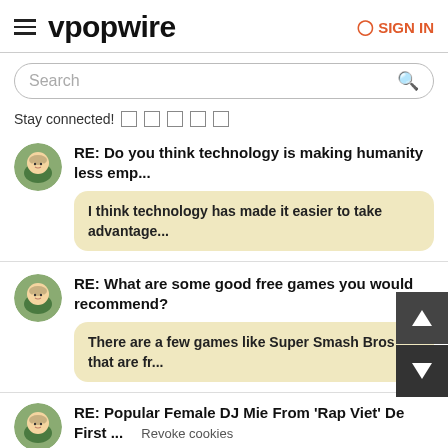vpopwire  SIGN IN
Search
Stay connected! □ □ □ □ □
RE: Do you think technology is making humanity less emp...
I think technology has made it easier to take advantage...
RE: What are some good free games you would recommend?
There are a few games like Super Smash Bros that are fr...
RE: Popular Female DJ Mie From 'Rap Viet' De... First ...
Revoke cookies